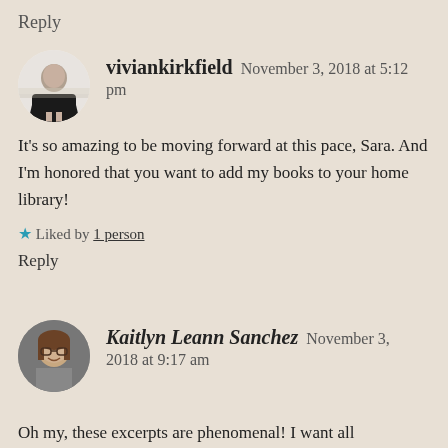Reply
viviankirkfield   November 3, 2018 at 5:12 pm
It's so amazing to be moving forward at this pace, Sara. And I'm honored that you want to add my books to your home library!
★ Liked by 1 person
Reply
Kaitlyn Leann Sanchez   November 3, 2018 at 9:17 am
Oh my, these excerpts are phenomenal! I want all